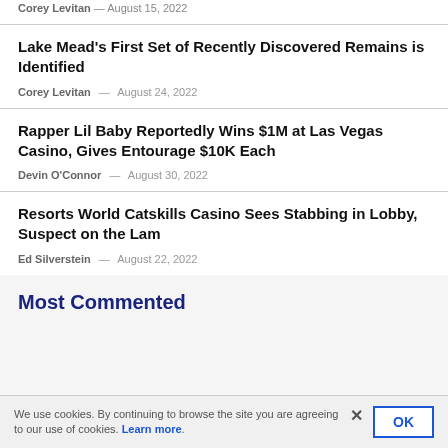Corey Levitan — August 15, 2022
Lake Mead's First Set of Recently Discovered Remains is Identified
Corey Levitan — August 24, 2022
Rapper Lil Baby Reportedly Wins $1M at Las Vegas Casino, Gives Entourage $10K Each
Devin O'Connor — August 30, 2022
Resorts World Catskills Casino Sees Stabbing in Lobby, Suspect on the Lam
Ed Silverstein — August 22, 2022
Most Commented
We use cookies. By continuing to browse the site you are agreeing to our use of cookies. Learn more.